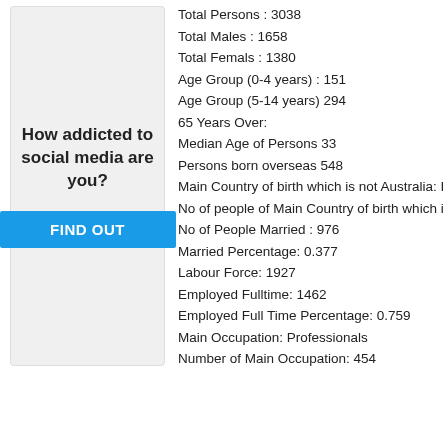[Figure (other): Advertisement panel with text 'How addicted to social media are you?' and a blue 'FIND OUT' button]
Total Persons : 3038
Total Males : 1658
Total Femals : 1380
Age Group (0-4 years) : 151
Age Group (5-14 years) 294
65 Years Over:
Median Age of Persons 33
Persons born overseas 548
Main Country of birth which is not Australia: I
No of people of Main Country of birth which i
No of People Married : 976
Married Percentage: 0.377
Labour Force: 1927
Employed Fulltime: 1462
Employed Full Time Percentage: 0.759
Main Occupation: Professionals
Number of Main Occupation: 454